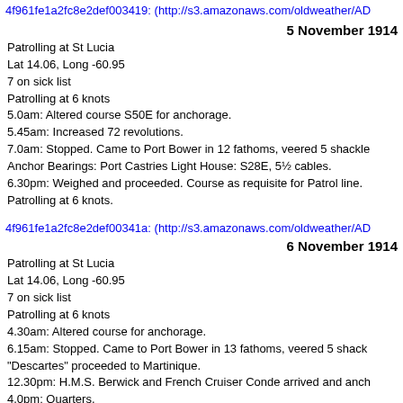4f961fe1a2fc8e2def003419: (http://s3.amazonaws.com/oldweather/AD
5 November 1914
Patrolling at St Lucia
Lat 14.06, Long -60.95
7 on sick list
Patrolling at 6 knots
5.0am: Altered course S50E for anchorage.
5.45am: Increased 72 revolutions.
7.0am: Stopped. Came to Port Bower in 12 fathoms, veered 5 shackle
Anchor Bearings: Port Castries Light House: S28E, 5½ cables.
6.30pm: Weighed and proceeded. Course as requisite for Patrol line.
Patrolling at 6 knots.
4f961fe1a2fc8e2def00341a: (http://s3.amazonaws.com/oldweather/AD
6 November 1914
Patrolling at St Lucia
Lat 14.06, Long -60.95
7 on sick list
Patrolling at 6 knots
4.30am: Altered course for anchorage.
6.15am: Stopped. Came to Port Bower in 13 fathoms, veered 5 shack
"Descartes" proceeded to Martinique.
12.30pm: H.M.S. Berwick and French Cruiser Conde arrived and anch
4.0pm: Quarters.
Exercised Physical Drill.
Discharged 3 ratings to H.M.S. Berwick.
6.45pm: Weighed and proceeded. Course as requisite for Patrol line.
St Lucia Harbour.